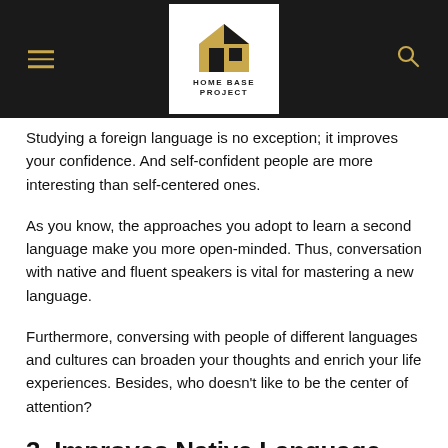HOME BASE PROJECT
Studying a foreign language is no exception; it improves your confidence. And self-confident people are more interesting than self-centered ones.
As you know, the approaches you adopt to learn a second language make you more open-minded. Thus, conversation with native and fluent speakers is vital for mastering a new language.
Furthermore, conversing with people of different languages and cultures can broaden your thoughts and enrich your life experiences. Besides, who doesn't like to be the center of attention?
3. Improves Native Language
Learning another language has long been beneficial to improving learners' understanding of their tongue. You will become more aware of